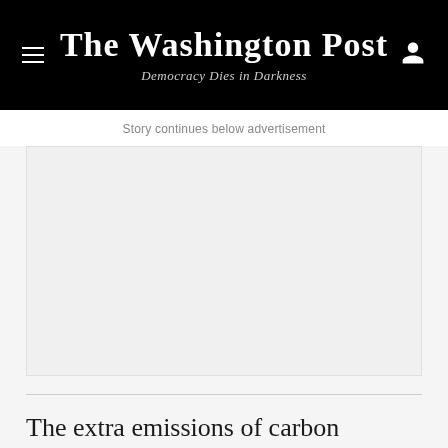The Washington Post — Democracy Dies in Darkness
Story continues below advertisement
[Figure (other): Advertisement placeholder — large light gray blank rectangle]
The extra emissions of carbon dioxide produced by the